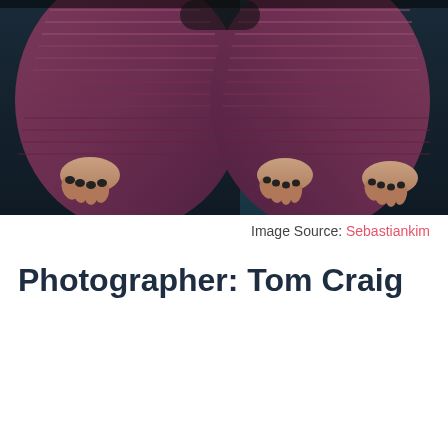[Figure (photo): A fashion photograph showing a person wearing a pleated dark mauve/purple dress, with hands on hips. The image appears to be repeated or mirrored twice side by side. The background is dark teal/blue.]
Image Source: Sebastiankim
Photographer: Tom Craig